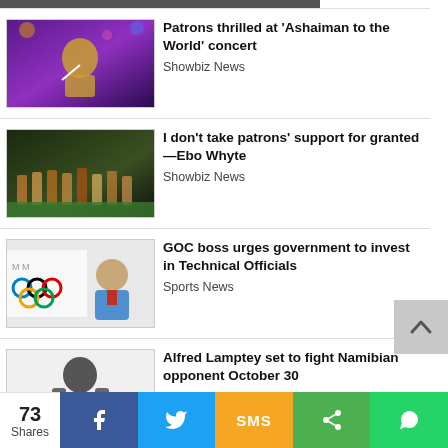[Figure (photo): Partial strip of an image at the top of a news listing page]
Patrons thrilled at 'Ashaiman to the World' concert
Showbiz News
[Figure (photo): Concert performer on stage with yellow and black striped sweater, purple lighting]
I don't take patrons' support for granted—Ebo Whyte
Showbiz News
[Figure (photo): Theater stage performance with group of performers in colorful costumes]
GOC boss urges government to invest in Technical Officials
Sports News
[Figure (photo): Man in blue suit in front of Olympic rings banner at GOC]
Alfred Lamptey set to fight Namibian opponent October 30
Sports News
[Figure (photo): Black and white photo of boxer Alfred Lamptey]
73 Shares